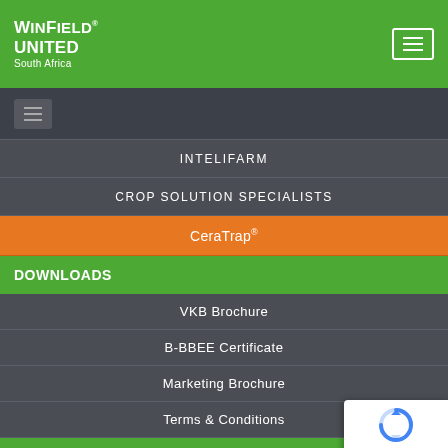WinField United South Africa
INTELIFARM
CROP SOLUTION SPECIALISTS
CeraTrap®
DOWNLOADS
VKB Brochure
B-BBEE Certificate
Marketing Brochure
Terms & Conditions
INTELIGRO CARES
[Figure (logo): reCAPTCHA logo with circular arrows icon and Privacy - Terms text]